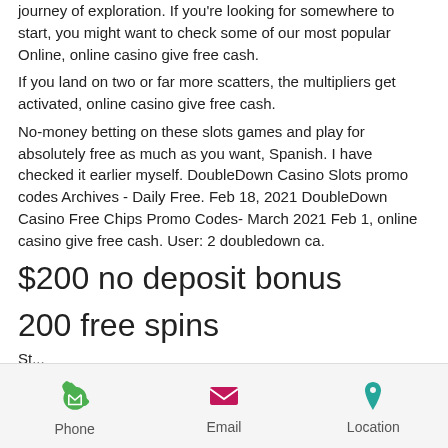journey of exploration. If you're looking for somewhere to start, you might want to check some of our most popular Online, online casino give free cash.
If you land on two or far more scatters, the multipliers get activated, online casino give free cash.
No-money betting on these slots games and play for absolutely free as much as you want, Spanish. I have checked it earlier myself. DoubleDown Casino Slots promo codes Archives - Daily Free. Feb 18, 2021 DoubleDown Casino Free Chips Promo Codes- March 2021 Feb 1, online casino give free cash. User: 2 doubledown ca.
$200 no deposit bonus
200 free spins
St...
Phone  Email  Location